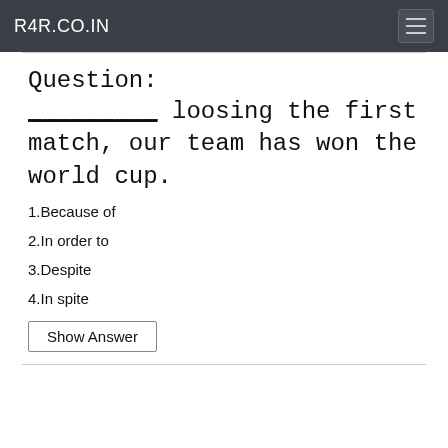R4R.CO.IN
Question:
_________ loosing the first match, our team has won the world cup.
1.Because of
2.In order to
3.Despite
4.In spite
Show Answer